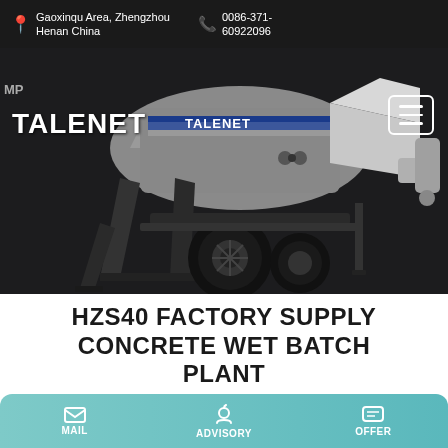📍 Gaoxinqu Area, Zhengzhou Henan China   📞 0086-371-60922096
[Figure (photo): Talenet branded concrete pump/wet batch plant on a wheeled trailer, gray body with blue TALENET stripe, photographed on dark background. Logo text TALENET visible on machine.]
TALENET
HZS40 FACTORY SUPPLY CONCRETE WET BATCH PLANT
MAIL   ADVISORY   OFFER